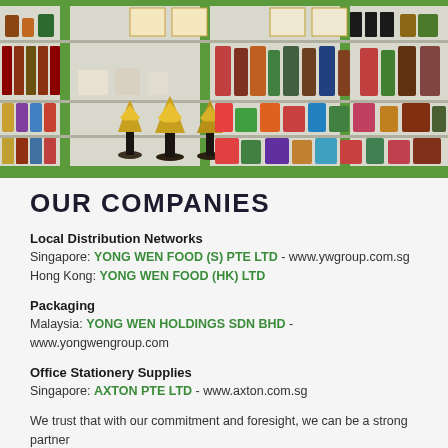[Figure (photo): Interior photo of a retail or showroom shelf display with various food products, canned goods, sauces, and golden award trophies/figurines on glass shelves with green-painted frame structure. Award certificates visible on top shelf.]
OUR COMPANIES
Local Distribution Networks
Singapore: YONG WEN FOOD (S) PTE LTD - www.ywgroup.com.sg
Hong Kong: YONG WEN FOOD (HK) LTD
Packaging
Malaysia: YONG WEN HOLDINGS SDN BHD - www.yongwengroup.com
Office Stationery Supplies
Singapore: AXTON PTE LTD - www.axton.com.sg
We trust that with our commitment and foresight, we can be a strong partner